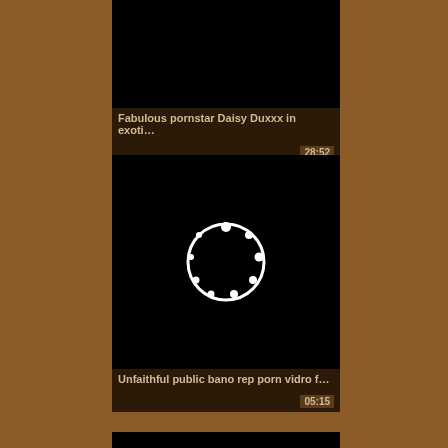[Figure (screenshot): Video thumbnail 1 - black background, title bar: Fabulous pornstar Daisy Duxxx in exoti…, duration 28:52]
[Figure (screenshot): Video thumbnail 2 - black background with loading spinner circle, title bar: Unfaithful public bano rep porn vidro f…, duration 05:15]
[Figure (screenshot): Video thumbnail 3 - black background with loading spinner circle, partially visible]